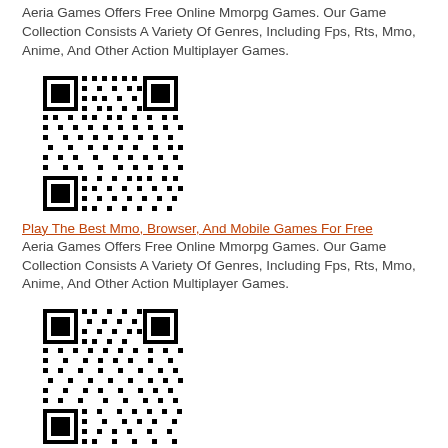Aeria Games Offers Free Online Mmorpg Games. Our Game Collection Consists A Variety Of Genres, Including Fps, Rts, Mmo, Anime, And Other Action Multiplayer Games.
[Figure (other): QR code image]
Play The Best Mmo, Browser, And Mobile Games For Free
Aeria Games Offers Free Online Mmorpg Games. Our Game Collection Consists A Variety Of Genres, Including Fps, Rts, Mmo, Anime, And Other Action Multiplayer Games.
[Figure (other): QR code image]
Play The Best Mmo, Browser, And Mobile Games For Free
Aeria Games Offers Free Online Mmorpg Games. Our Game Collection Consists A Variety Of Genres, Including Fps, Rts, Mmo, Anime, And Other Action Multiplayer Games.